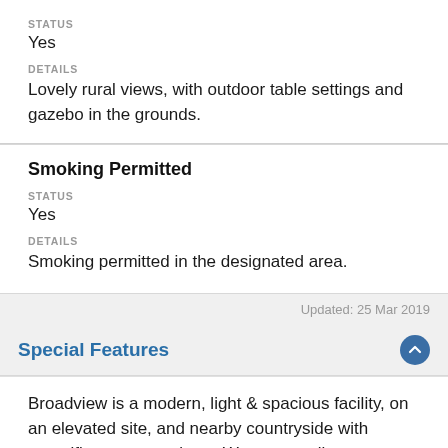STATUS
Yes
DETAILS
Lovely rural views, with outdoor table settings and gazebo in the grounds.
Smoking Permitted
STATUS
Yes
DETAILS
Smoking permitted in the designated area.
Updated: 25 Mar 2019
Special Features
Broadview is a modern, light & spacious facility, on an elevated site, and nearby countryside with magnificent ocean views. We are a well